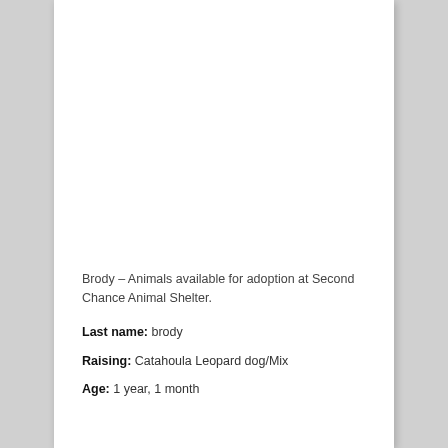Brody – Animals available for adoption at Second Chance Animal Shelter.
Last name: brody
Raising: Catahoula Leopard dog/Mix
Age: 1 year, 1 month